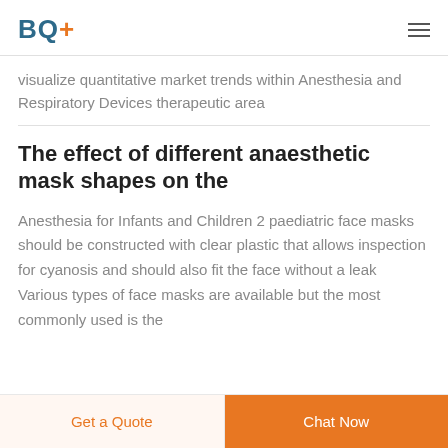BQ+
visualize quantitative market trends within Anesthesia and Respiratory Devices therapeutic area
The effect of different anaesthetic mask shapes on the
Anesthesia for Infants and Children 2 paediatric face masks should be constructed with clear plastic that allows inspection for cyanosis and should also fit the face without a leak Various types of face masks are available but the most commonly used is the
Get a Quote  Chat Now